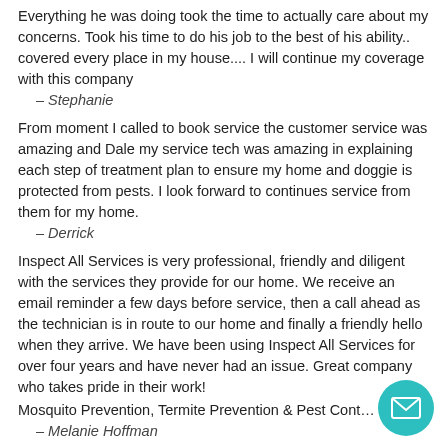Everything he was doing took the time to actually care about my concerns. Took his time to do his job to the best of his ability.. covered every place in my house.... I will continue my coverage with this company
 – Stephanie
From moment I called to book service the customer service was amazing and Dale my service tech was amazing in explaining each step of treatment plan to ensure my home and doggie is protected from pests. I look forward to continues service from them for my home.
 – Derrick
Inspect All Services is very professional, friendly and diligent with the services they provide for our home. We receive an email reminder a few days before service, then a call ahead as the technician is in route to our home and finally a friendly hello when they arrive. We have been using Inspect All Services for over four years and have never had an issue. Great company who takes pride in their work!
Mosquito Prevention, Termite Prevention & Pest Cont…
 – Melanie Hoffman
[Figure (other): Teal circular email/message button in bottom right corner]